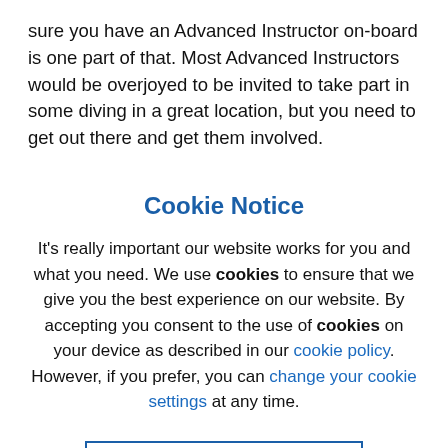sure you have an Advanced Instructor on-board is one part of that. Most Advanced Instructors would be overjoyed to be invited to take part in some diving in a great location, but you need to get out there and get them involved.

If you're lucky enough to have one or more in-branch, get some dates for diving in their diary, otherwise get in touch
Cookie Notice
It's really important our website works for you and what you need. We use cookies to ensure that we give you the best experience on our website. By accepting you consent to the use of cookies on your device as described in our cookie policy. However, if you prefer, you can change your cookie settings at any time.
Accept all cookies